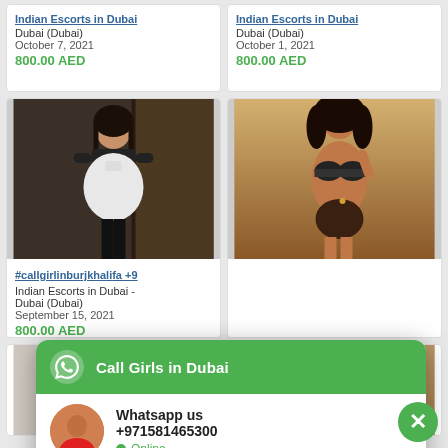[Figure (screenshot): Website listing page showing escort advertisements in Dubai with photos, dates, and prices in AED, overlaid with a WhatsApp chat widget popup showing 'Call Girls in Dubai', phone number +971581465300, and Online status. Powered by ToChat.be.]